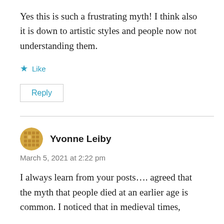Yes this is such a frustrating myth! I think also it is down to artistic styles and people now not understanding them.
★ Like
Reply
Yvonne Leiby
March 5, 2021 at 2:22 pm
I always learn from your posts.... agreed that the myth that people died at an earlier age is common. I noticed that in medieval times,